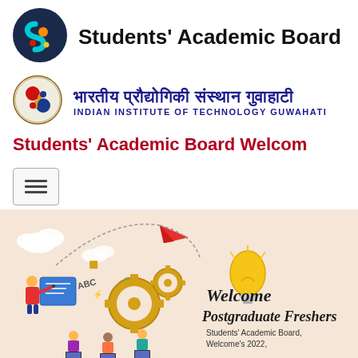[Figure (logo): Students' Academic Board circular logo with S-shaped cyan and orange figure on dark blue background]
Students' Academic Board
[Figure (logo): IIT Guwahati circular logo with yin-yang style design in red, blue, and yellow]
भारतीय प्रौद्योगिकी संस्थान गुवाहाटी
INDIAN INSTITUTE OF TECHNOLOGY GUWAHATI
Students' Academic Board Welcom
[Figure (illustration): Welcome illustration with educator, gears, lightbulb, students with laptops, and paper airplane on peach background. Text reads: Welcome Postgraduate Freshers, Students' Academic Board, Welcome's 2022,]